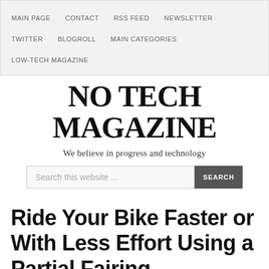MAIN PAGE   CONTACT   RSS FEED   NEWSLETTER   TWITTER   BLOGROLL   MAIN CATEGORIES   LOW-TECH MAGAZINE
NO TECH MAGAZINE
We believe in progress and technology
Ride Your Bike Faster or With Less Effort Using a Partial Fairing